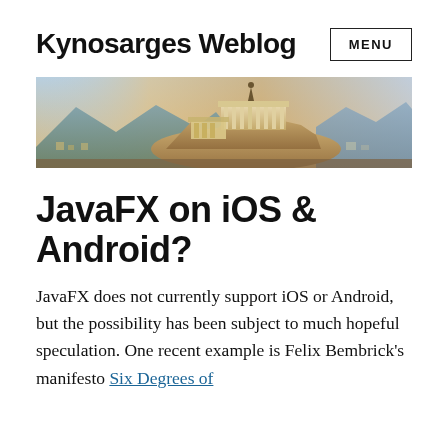Kynosarges Weblog
[Figure (illustration): Panoramic painting of the Acropolis of Athens showing ancient Greek architecture and landscape in warm tones]
JavaFX on iOS & Android?
JavaFX does not currently support iOS or Android, but the possibility has been subject to much hopeful speculation. One recent example is Felix Bembrick's manifesto Six Degrees of Separation What...